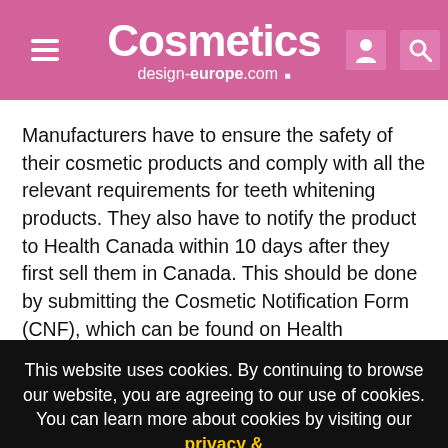Cosmetics design-europe.com
Manufacturers have to ensure the safety of their cosmetic products and comply with all the relevant requirements for teeth whitening products. They also have to notify the product to Health Canada within 10 days after they first sell them in Canada. This should be done by submitting the Cosmetic Notification Form (CNF), which can be found on Health Canada’s website.
This website uses cookies. By continuing to browse our website, you are agreeing to our use of cookies. You can learn more about cookies by visiting our privacy & cookies policy page.